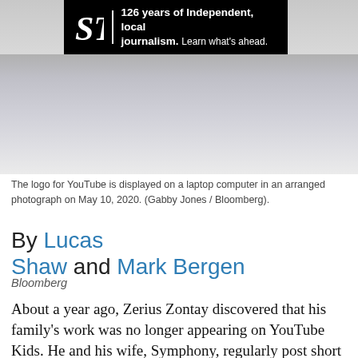[Figure (photo): Ad banner for Seattle Times: black banner with ST logo and text '126 years of Independent, local journalism. Learn what's ahead.' overlaid on a blurred photo of a laptop]
[Figure (photo): Blurred/cropped photo of a laptop computer showing the YouTube logo, light gray background]
The logo for YouTube is displayed on a laptop computer in an arranged photograph on May 10, 2020. (Gabby Jones / Bloomberg).
By Lucas Shaw and Mark Bergen
Bloomberg
About a year ago, Zerius Zontay discovered that his family's work was no longer appearing on YouTube Kids. He and his wife, Symphony, regularly post short clips on the giant video-sharing site, featuring their three sons, who play with toys, sing songs and